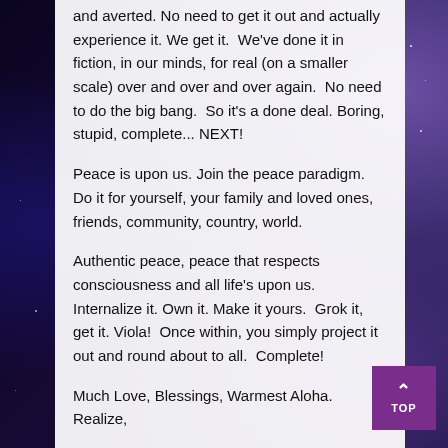and averted. No need to get it out and actually experience it. We get it.  We've done it in fiction, in our minds, for real (on a smaller scale) over and over and over again.  No need to do the big bang.  So it's a done deal. Boring, stupid, complete... NEXT!
Peace is upon us. Join the peace paradigm. Do it for yourself, your family and loved ones, friends, community, country, world.
Authentic peace, peace that respects consciousness and all life's upon us.  Internalize it. Own it. Make it yours.  Grok it, get it. Viola!  Once within, you simply project it out and round about to all.  Complete!
Much Love, Blessings, Warmest Aloha. Realize,